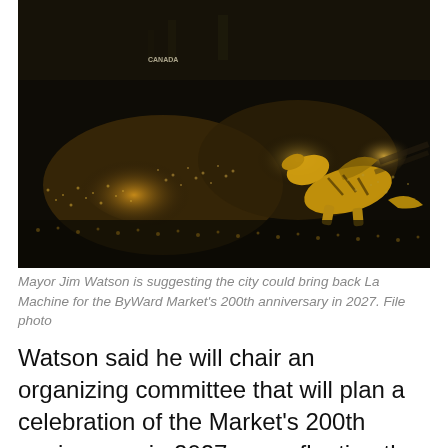[Figure (photo): Aerial night-time view of a massive crowd gathered outdoors, with warm golden lights illuminating the scene. A large mechanical dragon sculpture is visible on the right side of the image. Appears to be Parliament Hill in Ottawa.]
Mayor Jim Watson is suggesting the city could bring back La Machine for the ByWard Market's 200th anniversary in 2027. File photo
Watson said he will chair an organizing committee that will plan a celebration of the Market's 200th anniversary in 2027, even floating the possibility of bringing the fire-breathing mechanical dragons of La Machine – the production that wowed crowds at Ottawa's Canada 150 festivities